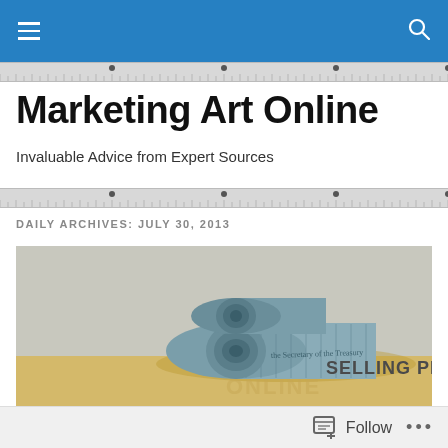Marketing Art Online — Navigation bar with hamburger menu and search icon
Marketing Art Online
Invaluable Advice from Expert Sources
DAILY ARCHIVES: JULY 30, 2013
[Figure (photo): Rolled US dollar bills shaped like a camera with text 'SELLING PHOTOS' visible on the right side, set against a light grey and warm yellow background]
Follow •••